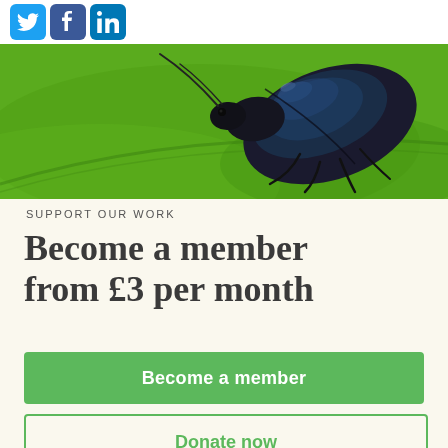[Figure (logo): Social media icons: Twitter (blue bird), Facebook (blue f), LinkedIn (blue in)]
[Figure (photo): Close-up photo of a shiny dark blue/black beetle on a bright green leaf background]
SUPPORT OUR WORK
Become a member from £3 per month
Become a member
Donate now